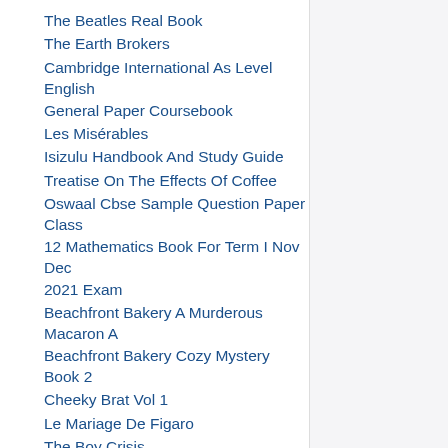The Beatles Real Book
The Earth Brokers
Cambridge International As Level English General Paper Coursebook
Les Misérables
Isizulu Handbook And Study Guide
Treatise On The Effects Of Coffee
Oswaal Cbse Sample Question Paper Class 12 Mathematics Book For Term I Nov Dec 2021 Exam
Beachfront Bakery A Murderous Macaron A Beachfront Bakery Cozy Mystery Book 2
Cheeky Brat Vol 1
Le Mariage De Figaro
The Boy Crisis
Adobe Dreamweaver Classroom In A Book 2022 Release
Cracking The Jee Code
The New Encyclopedia Of Modern Bodybuilding